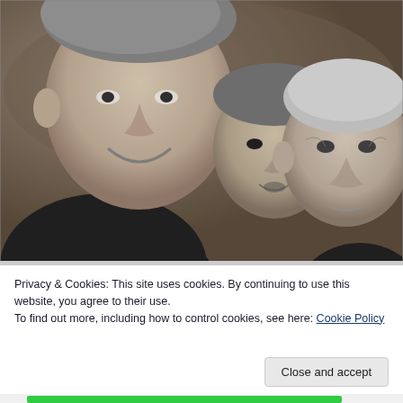[Figure (photo): Black and white grainy photograph of three men posing together. The man on the left is larger and smiling, the man in the middle is shorter, and the man on the right is elderly.]
Privacy & Cookies: This site uses cookies. By continuing to use this website, you agree to their use.
To find out more, including how to control cookies, see here: Cookie Policy
Close and accept